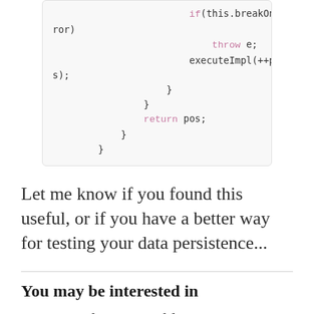[Figure (screenshot): Code block showing Java/JavaScript code snippet with keywords 'if', 'throw', 'return' highlighted in pink/magenta, showing breakOnError check, throw e, executeImpl(++pos), and return pos statements with closing braces.]
Let me know if you found this useful, or if you have a better way for testing your data persistence...
You may be interested in
Testing the Untestable